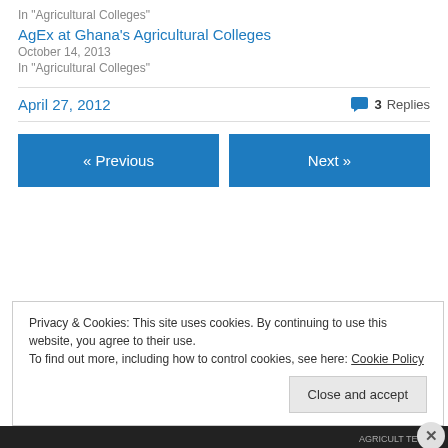In "Agricultural Colleges"
AgEx at Ghana's Agricultural Colleges
October 14, 2013
In "Agricultural Colleges"
April 27, 2012
3 Replies
« Previous
Next »
Privacy & Cookies: This site uses cookies. By continuing to use this website, you agree to their use.
To find out more, including how to control cookies, see here: Cookie Policy
Close and accept